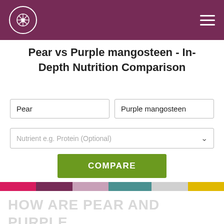Pear vs Purple mangosteen - In-Depth Nutrition Comparison (website header with logo and navigation)
Pear vs Purple mangosteen - In-Depth Nutrition Comparison
Pear | Purple mangosteen
Nutrient e.g. Protein (Optional)
COMPARE
HOW ARE PEAR AND PURPLE MANGOSTEEN DIFFERENT?